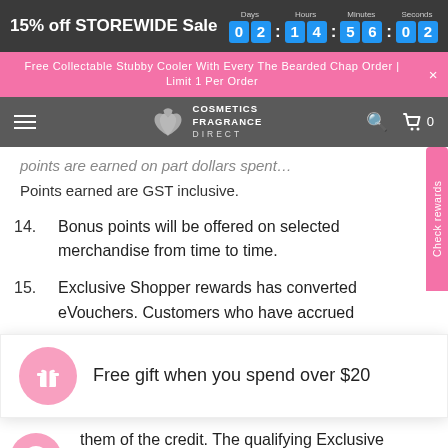15% off STOREWIDE Sale  Days 02 Hours 14 Minutes 56 Seconds 02
Free Collectable Stubby Cooler With Every The Bearded Chap Order | Limit 1 Per Order
Cosmetics Fragrance Direct
points are earned on part dollars spent. Points earned are GST inclusive.
14. Bonus points will be offered on selected merchandise from time to time.
15. Exclusive Shopper rewards has converted eVouchers. Customers who have accrued
Free gift when you spend over $20
them of the credit. The qualifying Exclusive Shopper point's levels are calculated regularly.